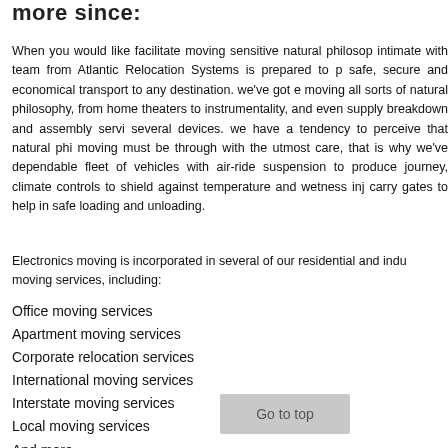more since:
When you would like facilitate moving sensitive natural philosophy intimate with team from Atlantic Relocation Systems is prepared to safe, secure and economical transport to any destination. we've got e moving all sorts of natural philosophy, from home theaters to instrumentality, and even supply breakdown and assembly servi several devices. we have a tendency to perceive that natural phi moving must be through with the utmost care, that is why we've dependable fleet of vehicles with air-ride suspension to produce journey, climate controls to shield against temperature and wetness inj carry gates to help in safe loading and unloading.
Electronics moving is incorporated in several of our residential and indu moving services, including:
Office moving services
Apartment moving services
Corporate relocation services
International moving services
Interstate moving services
Local moving services
And more